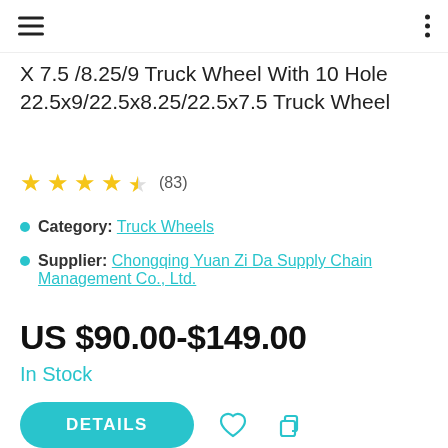X 7.5 /8.25/9 Truck Wheel With 10 Hole 22.5x9/22.5x8.25/22.5x7.5 Truck Wheel
★★★★½ (83)
Category: Truck Wheels
Supplier: Chongqing Yuan Zi Da Supply Chain Management Co., Ltd.
US $90.00-$149.00
In Stock